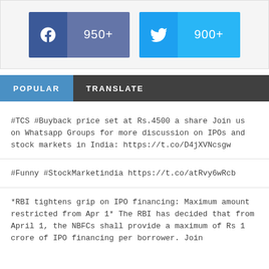[Figure (infographic): Social share buttons showing Facebook 950+ and Twitter 900+]
POPULAR   TRANSLATE
#TCS #Buyback price set at Rs.4500 a share Join us on Whatsapp Groups for more discussion on IPOs and stock markets in India: https://t.co/D4jXVNcsgw
#Funny #StockMarketindia https://t.co/atRvy6wRcb
*RBI tightens grip on IPO financing: Maximum amount restricted from Apr 1* The RBI has decided that from April 1, the NBFCs shall provide a maximum of Rs 1 crore of IPO financing per borrower. Join